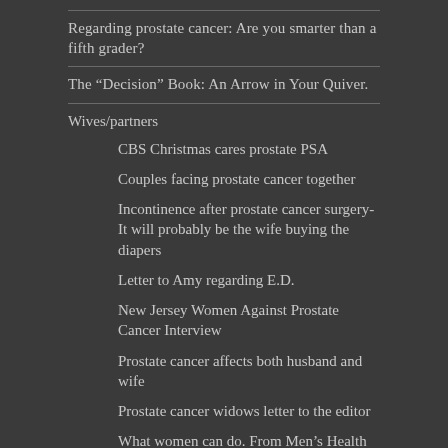Regarding prostate cancer: Are you smarter than a fifth grader?
The “Decision” Book: An Arrow in Your Quiver.
Wives/partners
CBS Christmas cares prostate PSA
Couples facing prostate cancer together
Incontinence after prostate cancer surgery-It will probably be the wife buying the diapers
Letter to Amy regarding E.D.
New Jersey Women Against Prostate Cancer Interview
Prostate cancer affects both husband and wife
Prostate cancer widows letter to the editor
What women can do. From Men’s Health Network